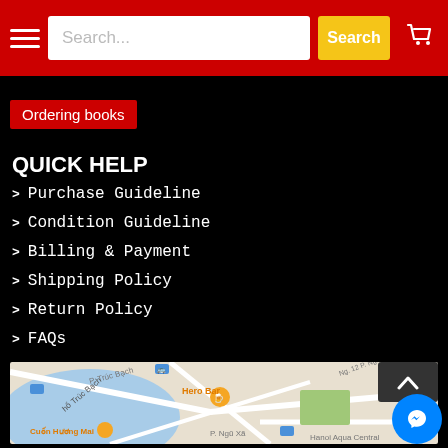Search... Search [cart icon]
Ordering books
QUICK HELP
> Purchase Guideline
> Condition Guideline
> Billing & Payment
> Shipping Policy
> Return Policy
> FAQs
[Figure (map): Google Maps view showing hồ Trúc Bạch lake area in Hanoi, Vietnam, with labels P. Trúc Bạch, Hero Bar, Ng. 12 P. Nghĩa Dũng, Cuốn Hương Mai, P. Ngũ Xã, P. Trần., Hanoi Aqua Central, and transit icons.]